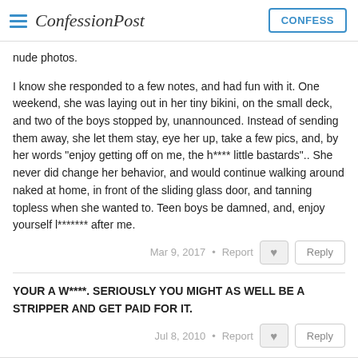ConfessionPost | CONFESS
nude photos.
I know she responded to a few notes, and had fun with it. One weekend, she was laying out in her tiny bikini, on the small deck, and two of the boys stopped by, unannounced. Instead of sending them away, she let them stay, eye her up, take a few pics, and, by her words "enjoy getting off on me, the h**** little bastards".. She never did change her behavior, and would continue walking around naked at home, in front of the sliding glass door, and tanning topless when she wanted to. Teen boys be damned, and, enjoy yourself l******* after me.
Mar 9, 2017 • Report
YOUR A W****. SERIOUSLY YOU MIGHT AS WELL BE A STRIPPER AND GET PAID FOR IT.
Jul 8, 2010 • Report